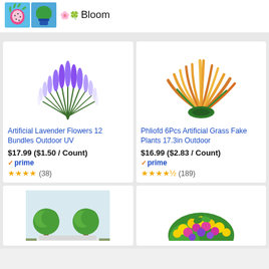[Figure (screenshot): Top bar showing two small product thumbnail images (dragon fruit/cactus and blue pot plant) alongside emoji icons and the word 'Bloom']
Bloom
[Figure (photo): Artificial lavender flowers - purple bushy plant with green stems]
Artificial Lavender Flowers 12 Bundles Outdoor UV
$17.99 ($1.50 / Count)
prime
★★★★ (38)
[Figure (photo): Artificial grass fake plants - yellow-orange and green tropical grass bush]
Phliofd 6Pcs Artificial Grass Fake Plants 17.3in Outdoor
$16.99 ($2.83 / Count)
prime
★★★★½ (189)
[Figure (photo): Green boxwood round topiary trees in outdoor planter setting]
[Figure (photo): Colorful artificial flower bush with pink, purple and yellow blooms]